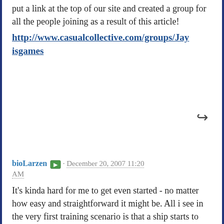put a link at the top of our site and created a group for all the people joining as a result of this article!
http://www.casualcollective.com/groups/Jayisgames
bioLarzen · December 20, 2007 11:20 AM
It's kinda hard for me to get even started - no matter how easy and straightforward it might be. All i see in the very first training scenario is that a ship starts to move on a straight course that i haven't sent it on, and when i try to change the course by clicking on its turnpoint it seemingly randomly changes into a new one that doesn't seem to be a logical path at all - plus a course that has not been set by me again.